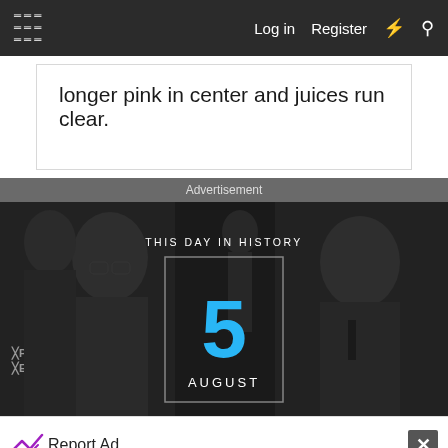Log in  Register
longer pink in center and juices run clear.
Advertisement
[Figure (photo): This Day in History banner showing the date August 5, with grayscale background images of historical figures on left and right sides. Center shows a date box with number 5 in cyan/blue and AUGUST in white text below.]
Report Ad